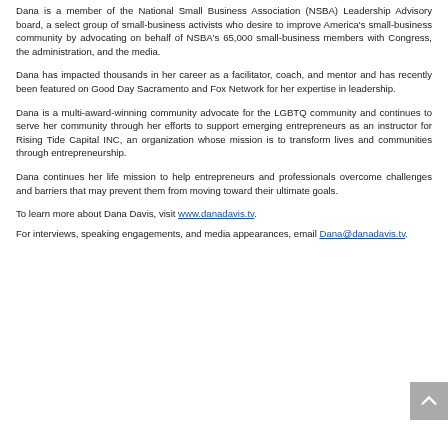Dana is a member of the National Small Business Association (NSBA) Leadership Advisory board, a select group of small-business activists who desire to improve America's small-business community by advocating on behalf of NSBA's 65,000 small-business members with Congress, the administration, and the media.
Dana has impacted thousands in her career as a facilitator, coach, and mentor and has recently been featured on Good Day Sacramento and Fox Network for her expertise in leadership.
Dana is a multi-award-winning community advocate for the LGBTQ community and continues to serve her community through her efforts to support emerging entrepreneurs as an instructor for Rising Tide Capital INC, an organization whose mission is to transform lives and communities through entrepreneurship.
Dana continues her life mission to help entrepreneurs and professionals overcome challenges and barriers that may prevent them from moving toward their ultimate goals.
To learn more about Dana Davis, visit www.danadavis.tv.
For interviews, speaking engagements, and media appearances, email Dana@danadavis.tv.